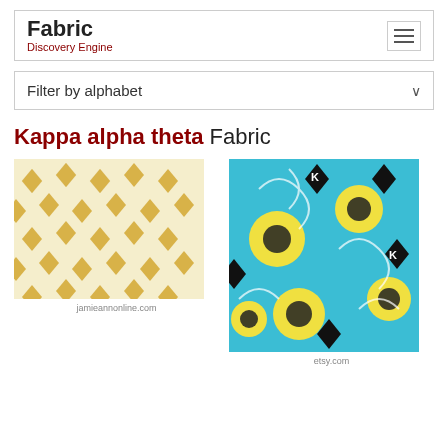Fabric Discovery Engine
Filter by alphabet
Kappa alpha theta Fabric
[Figure (photo): Fabric with repeating golden/yellow Kappa Alpha Theta diamond kite symbols on white background]
jamieannonline.com
[Figure (photo): Fabric with turquoise/teal background featuring yellow flowers, black decorative elements, and Kappa Alpha Theta symbols]
etsy.com